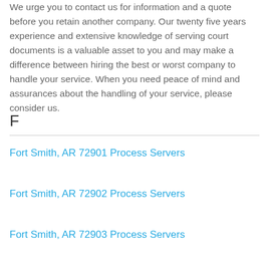We urge you to contact us for information and a quote before you retain another company. Our twenty five years experience and extensive knowledge of serving court documents is a valuable asset to you and may make a difference between hiring the best or worst company to handle your service. When you need peace of mind and assurances about the handling of your service, please consider us.
F
Fort Smith, AR 72901 Process Servers
Fort Smith, AR 72902 Process Servers
Fort Smith, AR 72903 Process Servers